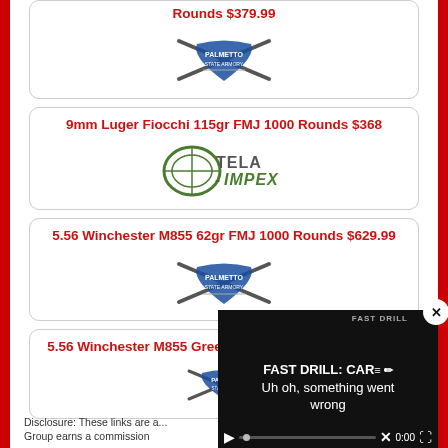Rounds $379.99
[Figure (logo): Palmetto State Armory logo]
9mm Luger Fiocchi 115gr FMJ 1000 Rounds $368
[Figure (logo): Tela-Impex logo]
5.56 Winchester M855 62gr FMJ 1000 Rounds $629.99
[Figure (logo): Palmetto State Armory logo]
5.56 Winchester M855 Green Tip 62gr FMJ 420 Round...
[Figure (logo): Palmetto State Armory logo (partial)]
Disclosure: These links are a... Group earns a commission
[Figure (screenshot): Video overlay: FAST DRILL: CAR... Uh oh, something went wrong. Video player with controls at 0:00]